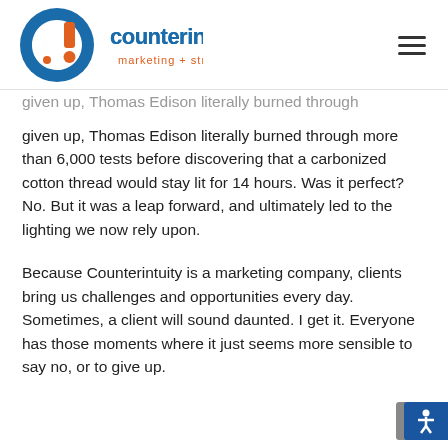Counterintuity marketing + strategy [logo]
given up, Thomas Edison literally burned through more than 6,000 tests before discovering that a carbonized cotton thread would stay lit for 14 hours. Was it perfect? No. But it was a leap forward, and ultimately led to the lighting we now rely upon.
Because Counterintuity is a marketing company, clients bring us challenges and opportunities every day. Sometimes, a client will sound daunted. I get it. Everyone has those moments where it just seems more sensible to say no, or to give up.